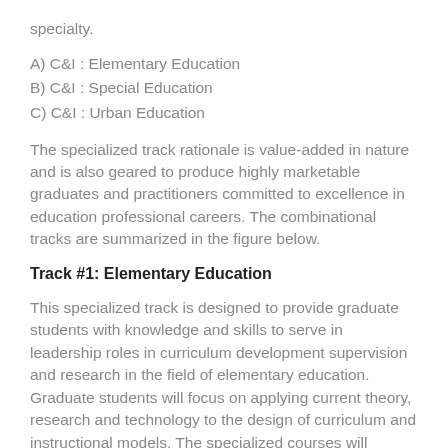specialty.
A) C&I : Elementary Education
B) C&I : Special Education
C) C&I : Urban Education
The specialized track rationale is value-added in nature and is also geared to produce highly marketable graduates and practitioners committed to excellence in education professional careers. The combinational tracks are summarized in the figure below.
Track #1: Elementary Education
This specialized track is designed to provide graduate students with knowledge and skills to serve in leadership roles in curriculum development supervision and research in the field of elementary education. Graduate students will focus on applying current theory, research and technology to the design of curriculum and instructional models. The specialized courses will endorse competencies required by the Virginia Department of Education for Elementary Education licensure. This option